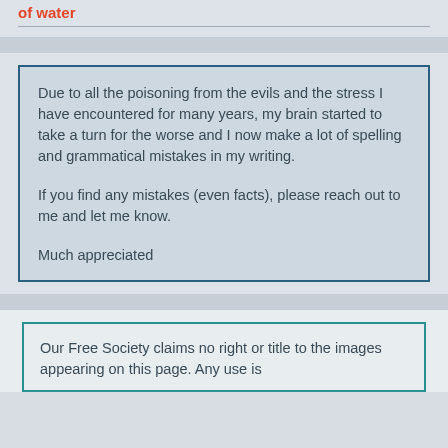of water
Due to all the poisoning from the evils and the stress I have encountered for many years, my brain started to take a turn for the worse and I now make a lot of spelling and grammatical mistakes in my writing.

If you find any mistakes (even facts), please reach out to me and let me know.

Much appreciated
Our Free Society claims no right or title to the images appearing on this page. Any use is